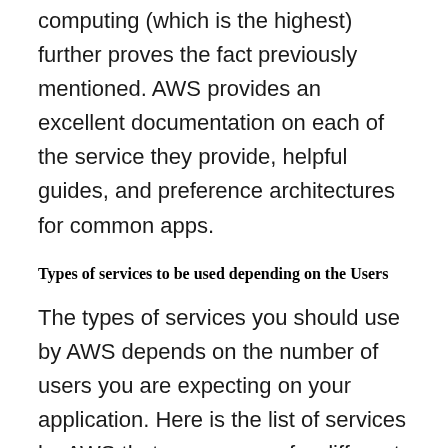...that AWS still maintains of cloud computing (which is the highest) further proves the fact previously mentioned. AWS provides an excellent documentation on each of the service they provide, helpful guides, and preference architectures for common apps.
Types of services to be used depending on the Users
The types of services you should use by AWS depends on the number of users you are expecting on your application. Here is the list of services by AWS that you can use for different type of users.